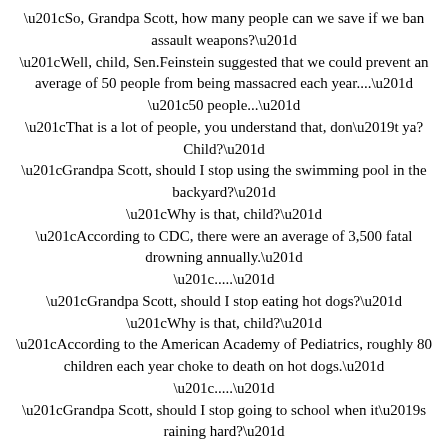“So, Grandpa Scott, how many people can we save if we ban assault weapons?”
“Well, child, Sen.Feinstein suggested that we could prevent an average of 50 people from being massacred each year....”
“50 people...”
“That is a lot of people, you understand that, don’t ya? Child?”
“Grandpa Scott, should I stop using the swimming pool in the backyard?”
“Why is that, child?”
“According to CDC, there were an average of 3,500 fatal drowning annually.”
“.....”
“Grandpa Scott, should I stop eating hot dogs?”
“Why is that, child?”
“According to the American Academy of Pediatrics, roughly 80 children each year choke to death on hot dogs.”
“.....”
“Grandpa Scott, should I stop going to school when it’s raining hard?”
“Why is that, child?”
“According to National Weather Service, about 50 people die getting hit by lightning annually.”